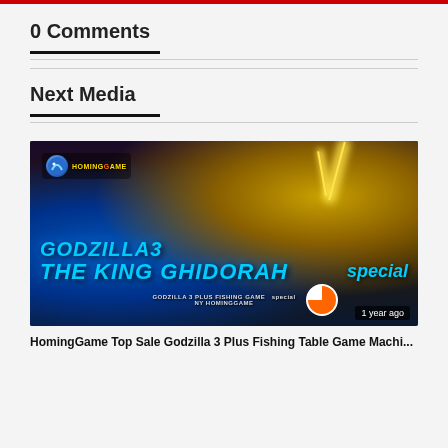0 Comments
Next Media
[Figure (screenshot): Thumbnail image for a YouTube/gaming video titled 'GODZILLA3 THE KING GHIDORAH' with a timestamp of '1 year ago'. The image shows Godzilla and King Ghidorah battling with lightning and blue energy effects. Overlay text reads 'GODZILLA 3 PLUS FISHING GAME NY HOMINGGAME' and 'special'. HomingGame logo visible in top-left corner.]
HomingGame Top Sale Godzilla 3 Plus Fishing Table Game Machi...